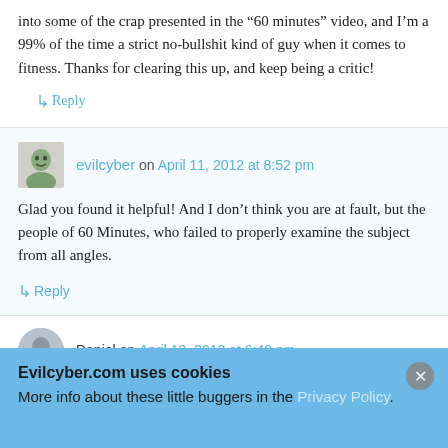into some of the crap presented in the “60 minutes” video, and I’m a 99% of the time a strict no-bullshit kind of guy when it comes to fitness. Thanks for clearing this up, and keep being a critic!
↳ Reply
evilcyber on April 11, 2012 at 8:52 pm
Glad you found it helpful! And I don’t think you are at fault, but the people of 60 Minutes, who failed to properly examine the subject from all angles.
↳ Reply
Daniel on April 13, 2012 at 6:40 pm
Evilcyber.com uses cookies
More info about these little buggers in the Privacy Policy.